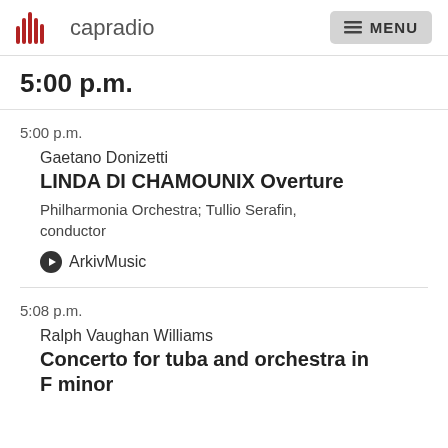capradio  MENU
5:00 p.m.
5:00 p.m.
Gaetano Donizetti
LINDA DI CHAMOUNIX Overture
Philharmonia Orchestra; Tullio Serafin, conductor
ArkivMusic
5:08 p.m.
Ralph Vaughan Williams
Concerto for tuba and orchestra in F minor